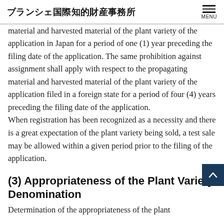ブランシェ国際知的財産事務所
material and harvested material of the plant variety of the application in Japan for a period of one (1) year preceding the filing date of the application. The same prohibition against assignment shall apply with respect to the propagating material and harvested material of the plant variety of the application filed in a foreign state for a period of four (4) years preceding the filing date of the application.
When registration has been recognized as a necessity and there is a great expectation of the plant variety being sold, a test sale may be allowed within a given period prior to the filing of the application.
(3) Appropriateness of the Plant Variety Denomination
Determination of the appropriateness of the plant